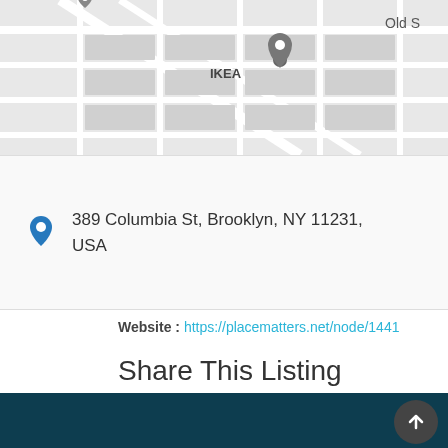[Figure (map): Street map showing location near IKEA in Brooklyn. Map pin marker visible. Text 'Old S' partially visible in top right corner.]
389 Columbia St, Brooklyn, NY 11231, USA
Website : https://placematters.net/node/1441
Share This Listing
[Figure (infographic): Social share buttons: Twitter (blue bird), Facebook (blue f), Google+ (red g+), LinkedIn (teal in), Pinterest (red P)]